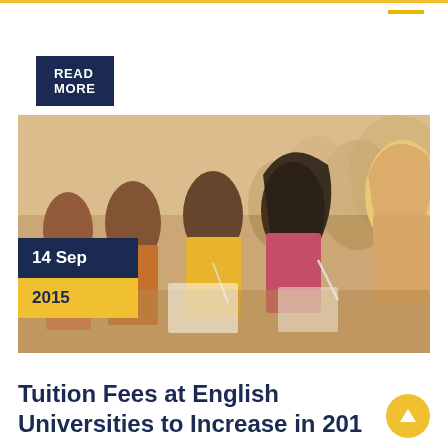READ MORE
[Figure (photo): Students sitting in rows writing/studying, photographed from the side in a classroom or library setting]
14 Sep
2015
Tuition Fees at English Universities to Increase in 201...